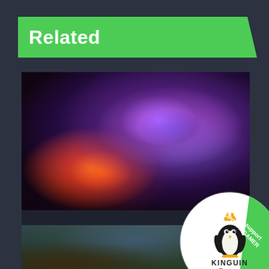Related
[Figure (photo): Space/sci-fi themed dark image with purple and orange light effects, appears to be from Star Citizen game]
Star Citizen - One game to...
[Figure (logo): Kinguin Partner badge - circular white badge with penguin logo wearing a crown, green banner saying 'Click to support POPCORNGAMER']
[Figure (photo): Forest/trees outdoor scene, appears to be a game screenshot with pine trees and blue sky]